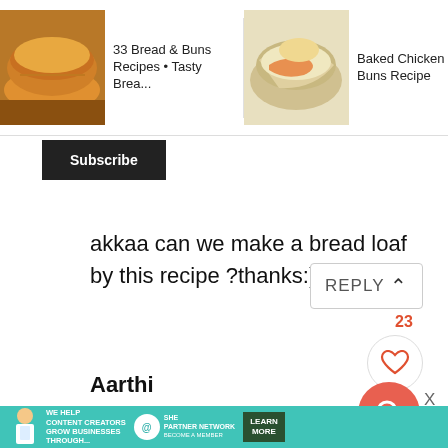[Figure (screenshot): Recommendation bar with three recipe thumbnails: '33 Bread & Buns Recipes • Tasty Brea...', 'Baked Chicken Mayo Buns Recipe', 'Burger Bu... Recipe' with a right arrow]
[Figure (screenshot): Black Subscribe button]
akkaa can we make a bread loaf by this recipe ?thanks:)
[Figure (screenshot): REPLY button with up chevron, like count 23, heart icon circle, and search icon circle]
Aarthi
@umamahiyes u can make bread using
[Figure (screenshot): SHE Partner Network advertisement banner at bottom: 'We help content creators grow businesses through... / SHE Partner Network / Become a member / Learn More']